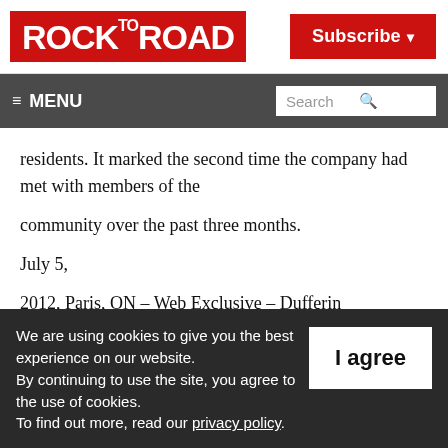ROCK TO ROAD
Subscribe
≡ MENU   Search
residents. It marked the second time the company had met with members of the community over the past three months.
July 5, 2012, Paris, ON – Web Exclusive – Dufferin Aggregates' plan to open a 648
We are using cookies to give you the best experience on our website. By continuing to use the site, you agree to the use of cookies. To find out more, read our privacy policy.
I agree